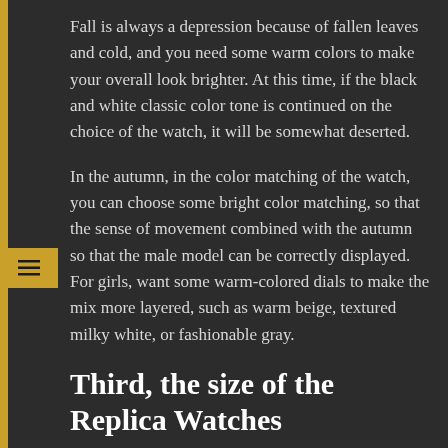Fall is always a depression because of fallen leaves and cold, and you need some warm colors to make your overall look brighter. At this time, if the black and white classic color tone is continued on the choice of the watch, it will be somewhat deserted.
In the autumn, in the color matching of the watch, you can choose some bright color matching, so that the sense of movement combined with the autumn so that the male model can be correctly displayed. For girls, want some warm-colored dials to make the mix more layered, such as warm beige, textured milky white, or fashionable gray.
Third, the size of the Replica Watches
There are always a lot of watch friends who don't know